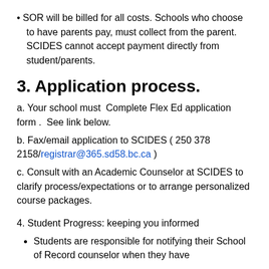SOR will be billed for all costs. Schools who choose to have parents pay, must collect from the parent. SCIDES cannot accept payment directly from student/parents.
3. Application process.
a. Your school must Complete Flex Ed application form . See link below.
b. Fax/email application to SCIDES ( 250 378 2158/registrar@365.sd58.bc.ca )
c. Consult with an Academic Counselor at SCIDES to clarify process/expectations or to arrange personalized course packages.
4. Student Progress: keeping you informed
Students are responsible for notifying their School of Record counselor when they have